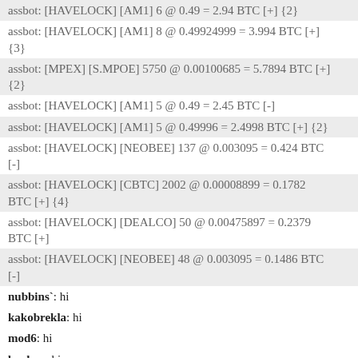assbot: [HAVELOCK] [AM1] 6 @ 0.49 = 2.94 BTC [+] {2}
assbot: [HAVELOCK] [AM1] 8 @ 0.49924999 = 3.994 BTC [+] {3}
assbot: [MPEX] [S.MPOE] 5750 @ 0.00100685 = 5.7894 BTC [+] {2}
assbot: [HAVELOCK] [AM1] 5 @ 0.49 = 2.45 BTC [-]
assbot: [HAVELOCK] [AM1] 5 @ 0.49996 = 2.4998 BTC [+] {2}
assbot: [HAVELOCK] [NEOBEE] 137 @ 0.003095 = 0.424 BTC [-]
assbot: [HAVELOCK] [CBTC] 2002 @ 0.00008899 = 0.1782 BTC [+] {4}
assbot: [HAVELOCK] [DEALCO] 50 @ 0.00475897 = 0.2379 BTC [+]
assbot: [HAVELOCK] [NEOBEE] 48 @ 0.003095 = 0.1486 BTC [-]
nubbins`: hi
kakobrekla: hi
mod6: hi
benkay: hi
assbot: [HAVELOCK] [NEOBEE] 268 @ 0.00298073 = 0.7988 BTC [-] {3}
assbot: [HAVELOCK] [NEOBEE] 92 @ 0.00298 = 0.2742 BTC [-]
mircea_popescu: benkay "I am currently using this fiction whereby the MPBOR established through the workings on one